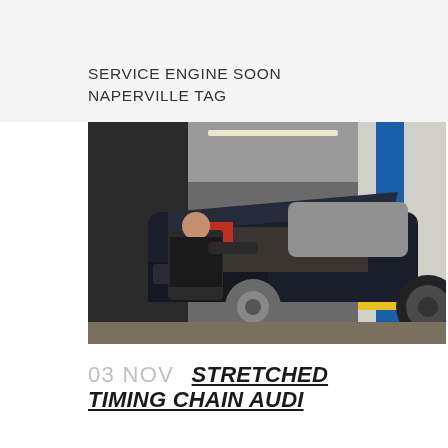SERVICE ENGINE SOON NAPERVILLE TAG
[Figure (photo): A mechanic in dark clothing leaning under the open hood of a dark-colored car (likely an Audi) in an automotive repair shop. A blue hydraulic lift is visible in the background, along with tools and another vehicle.]
03 NOV STRETCHED TIMING CHAIN AUDI